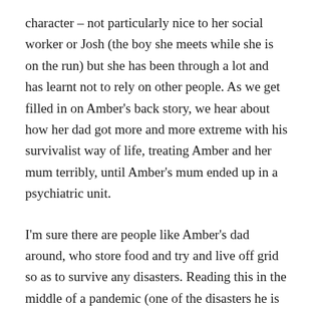character – not particularly nice to her social worker or Josh (the boy she meets while she is on the run) but she has been through a lot and has learnt not to rely on other people. As we get filled in on Amber's back story, we hear about how her dad got more and more extreme with his survivalist way of life, treating Amber and her mum terribly, until Amber's mum ended up in a psychiatric unit.
I'm sure there are people like Amber's dad around, who store food and try and live off grid so as to survive any disasters. Reading this in the middle of a pandemic (one of the disasters he is guarding against) was a little unnerving!